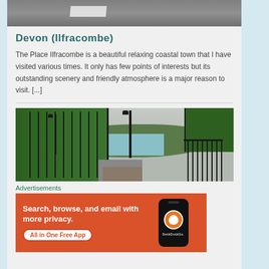[Figure (photo): Top portion of a road/pavement photo, partially cropped, showing tarmac with white markings]
Devon (Ilfracombe)
The Place Ilfracombe is a beautiful relaxing coastal town that I have visited various times. It only has few points of interests but its outstanding scenery and friendly atmosphere is a major reason to visit. [...]
[Figure (photo): Coastal scenic photo showing green Victorian-style glasshouse/building on left, lamp posts, a bay with water and hills in background, green building on right, wrought iron railings]
Advertisements
[Figure (screenshot): DuckDuckGo advertisement banner with orange background. Text reads: Search, browse, and email with more privacy. All in One Free App. Shows a phone with DuckDuckGo logo.]